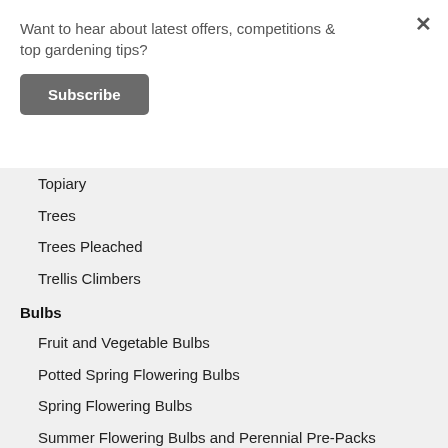Want to hear about latest offers, competitions & top gardening tips?
Subscribe
Topiary
Trees
Trees Pleached
Trellis Climbers
Bulbs
Fruit and Vegetable Bulbs
Potted Spring Flowering Bulbs
Spring Flowering Bulbs
Summer Flowering Bulbs and Perennial Pre-Packs
Sundries
Animal Friendly Pest Control
Artificial Trellis
Compost